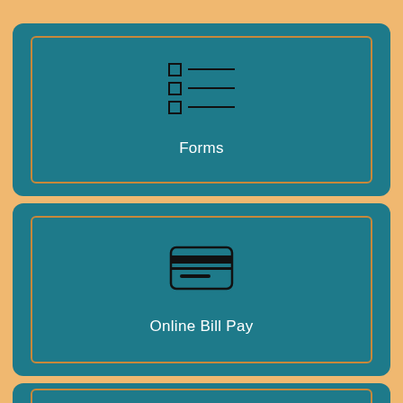[Figure (infographic): Teal card with orange border containing a checklist/forms icon and the label 'Forms']
[Figure (infographic): Teal card with orange border containing a credit card icon and the label 'Online Bill Pay']
[Figure (infographic): Teal card with orange border, partially visible at bottom of page]